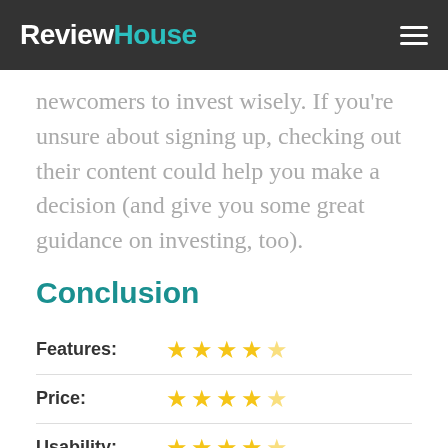ReviewHouse
newcomers to invest wisely. If you're unsure about signing up, checking out their content could help you make a decision (and give you some great guidance on investing, too).
Conclusion
| Category | Rating |
| --- | --- |
| Features: | 4.5 stars |
| Price: | 4.5 stars |
| Usability: | 4.5 stars |
| Customer: |  |